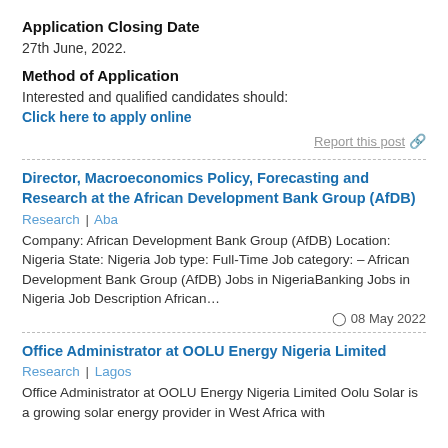Application Closing Date
27th June, 2022.
Method of Application
Interested and qualified candidates should:
Click here to apply online
Report this post
Director, Macroeconomics Policy, Forecasting and Research at the African Development Bank Group (AfDB)
Research | Aba
Company: African Development Bank Group (AfDB) Location: Nigeria State: Nigeria Job type: Full-Time Job category: – African Development Bank Group (AfDB) Jobs in NigeriaBanking Jobs in Nigeria Job Description African…
08 May 2022
Office Administrator at OOLU Energy Nigeria Limited
Research | Lagos
Office Administrator at OOLU Energy Nigeria Limited Oolu Solar is a growing solar energy provider in West Africa with